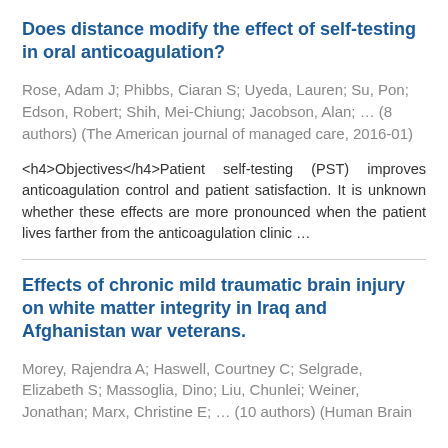Does distance modify the effect of self-testing in oral anticoagulation?
Rose, Adam J; Phibbs, Ciaran S; Uyeda, Lauren; Su, Pon; Edson, Robert; Shih, Mei-Chiung; Jacobson, Alan; ... (8 authors) (The American journal of managed care, 2016-01)
<h4>Objectives</h4>Patient self-testing (PST) improves anticoagulation control and patient satisfaction. It is unknown whether these effects are more pronounced when the patient lives farther from the anticoagulation clinic ...
Effects of chronic mild traumatic brain injury on white matter integrity in Iraq and Afghanistan war veterans.
Morey, Rajendra A; Haswell, Courtney C; Selgrade, Elizabeth S; Massoglia, Dino; Liu, Chunlei; Weiner, Jonathan; Marx, Christine E; ... (10 authors) (Human Brain ...